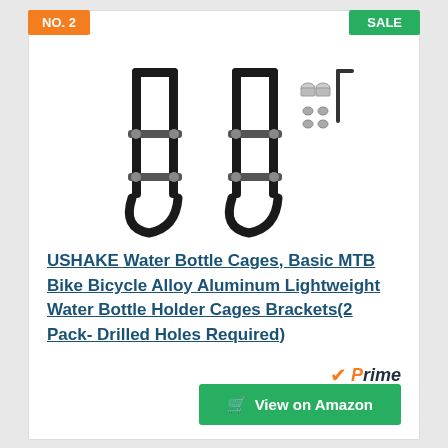NO. 2
SALE
[Figure (photo): Two black aluminum bicycle water bottle cages with mounting hardware (screws and hex key) displayed on white background]
USHAKE Water Bottle Cages, Basic MTB Bike Bicycle Alloy Aluminum Lightweight Water Bottle Holder Cages Brackets(2 Pack- Drilled Holes Required)
Prime
View on Amazon